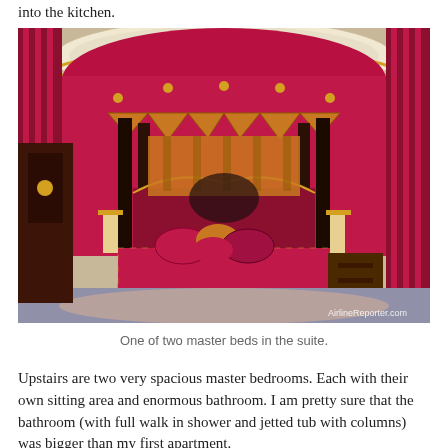into the kitchen.
[Figure (photo): Luxurious hotel bedroom with a four-poster canopy bed draped in red and gold fabric, ornate Arabic-style decor, red bedspread with gold pattern, pillows in red and gold, dark wood furniture, and striped pink/red walls. Circular ceiling detail in gold and white. Watermark: AirlineReporter.com]
One of two master beds in the suite.
Upstairs are two very spacious master bedrooms. Each with their own sitting area and enormous bathroom. I am pretty sure that the bathroom (with full walk in shower and jetted tub with columns) was bigger than my first apartment.